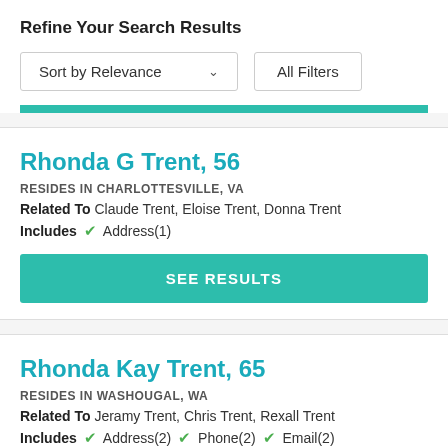Refine Your Search Results
Sort by Relevance   All Filters
Rhonda G Trent, 56
RESIDES IN CHARLOTTESVILLE, VA
Related To Claude Trent, Eloise Trent, Donna Trent
Includes ✓ Address(1)
SEE RESULTS
Rhonda Kay Trent, 65
RESIDES IN WASHOUGAL, WA
Related To Jeramy Trent, Chris Trent, Rexall Trent
Includes ✓ Address(2) ✓ Phone(2) ✓ Email(2)